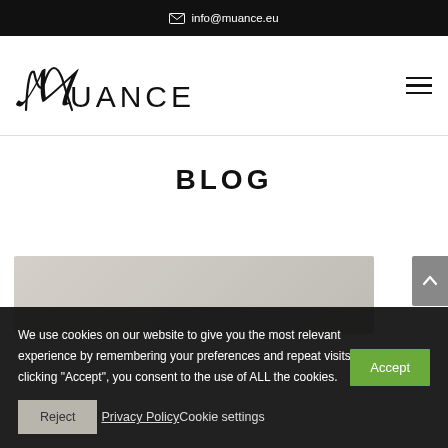info@muance.eu
[Figure (logo): Muance logo - stylized italic handwritten M followed by UANCE in serif caps]
BLOG
[Figure (photo): Partial view of a light gray/beige fabric or textile image at bottom of page]
We use cookies on our website to give you the most relevant experience by remembering your preferences and repeat visits. By clicking "Accept", you consent to the use of ALL the cookies.
Reject  Privacy Policy  Cookie settings  Accept